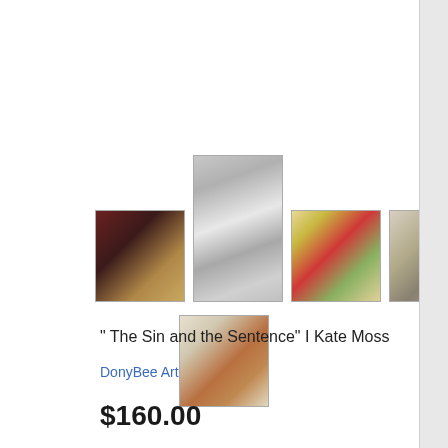[Figure (photo): Product listing page showing 5 artwork thumbnails for 'The Sin and the Sentence | Kate Moss' by DonyBee Art. Row 1: artwork on wall in dark room, black-and-white figure collage (taller), colorful geometric figures, vintage camera/text image. Row 2 below: mixed media collage with tools and text.]
" The Sin and the Sentence" I Kate Moss
DonyBee Art
$160.00